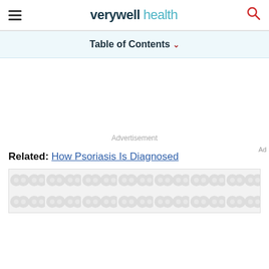verywell health
Table of Contents
Advertisement
Related: How Psoriasis Is Diagnosed
[Figure (other): Advertisement banner placeholder with repeating circular pattern in light gray]